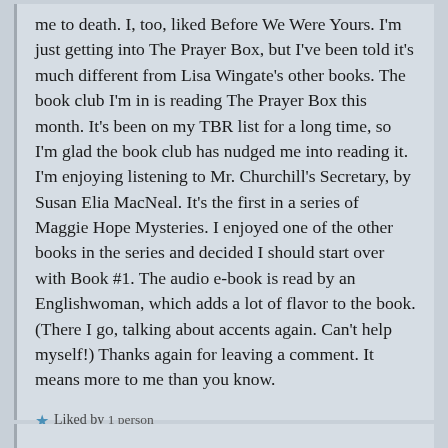me to death. I, too, liked Before We Were Yours. I'm just getting into The Prayer Box, but I've been told it's much different from Lisa Wingate's other books. The book club I'm in is reading The Prayer Box this month. It's been on my TBR list for a long time, so I'm glad the book club has nudged me into reading it. I'm enjoying listening to Mr. Churchill's Secretary, by Susan Elia MacNeal. It's the first in a series of Maggie Hope Mysteries. I enjoyed one of the other books in the series and decided I should start over with Book #1. The audio e-book is read by an Englishwoman, which adds a lot of flavor to the book. (There I go, talking about accents again. Can't help myself!) Thanks again for leaving a comment. It means more to me than you know.
★ Liked by 1 person